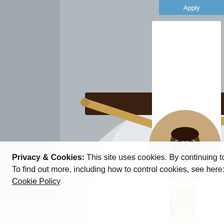[Figure (photo): Crucifix statue — a golden figure of Jesus on a dark wooden cross, with a red circular decoration at the center, illuminated by a spotlight against a light-colored wall background.]
[Figure (photo): Circular profile photo of a smiling Black man with glasses and a beard, wearing a beige shirt, sitting at a desk.]
Privacy & Cookies: This site uses cookies. By continuing to use this website, you agree to their use.
To find out more, including how to control cookies, see here:
Cookie Policy
Close and accept